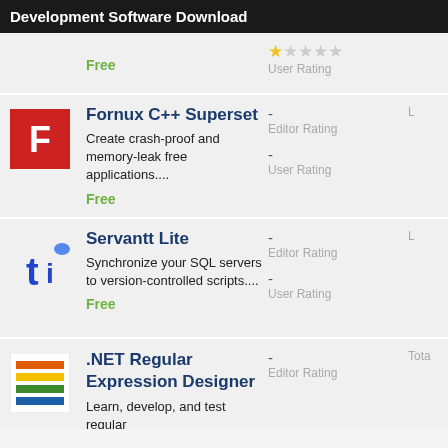Development Software Download
Free
User Rating
Fornux C++ Superset
Create crash-proof and memory-leak free applications....
Free
Editor Rating
User Rating
Servantt Lite
Synchronize your SQL servers to version-controlled scripts....
Free
Editor Rating
User Rating
.NET Regular Expression Designer
Learn, develop, and test regular
Editor Rating